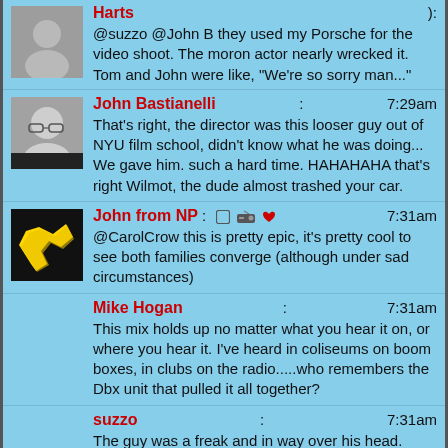Harts): @suzzo @John B they used my Porsche for the video shoot. The moron actor nearly wrecked it. Tom and John were like, "We're so sorry man..."
John Bastianelli: 7:29am That's right, the director was this looser guy out of NYU film school, didn't know what he was doing... We gave him. such a hard time. HAHAHAHA that's right Wilmot, the dude almost trashed your car.
John from NP: 7:31am @CarolCrow this is pretty epic, it's pretty cool to see both families converge (although under sad circumstances)
Mike Hogan: 7:31am This mix holds up no matter what you hear it on, or where you hear it. I've heard in coliseums on boom boxes, in clubs on the radio.....who remembers the Dbx unit that pulled it all together?
suzzo: 7:31am The guy was a freak and in way over his head.